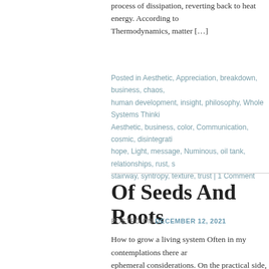process of dissipation, reverting back to heat energy. According to Thermodynamics, matter […]
Posted in Aesthetic, Appreciation, breakdown, business, chaos, human development, insight, philosophy, Whole Systems Thinking | Tagged Aesthetic, business, color, Communication, cosmic, disintegration, hope, Light, message, Numinous, oil tank, relationships, rust, stairway, syntropy, texture, trust | 1 Comment
Of Seeds And Roots
POSTED ON DECEMBER 12, 2021
How to grow a living system Often in my contemplations there are ephemeral considerations. On the practical side, this image represents that, in my professional life, took me years and many trials to learn strategy when trying to create a social entity such as a […]
Posted in Aesthetic, Appreciation, business, insight, leadership, tree | Tagged birth, business, celestial, collaborative enterprise,